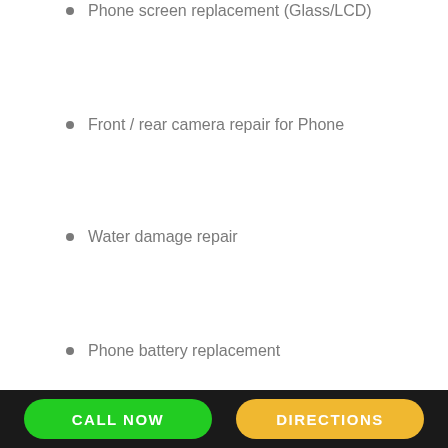Phone screen replacement (Glass/LCD)
Front / rear camera repair for Phone
Water damage repair
Phone battery replacement
Phone Repair Options
[Figure (illustration): Blue rounded rectangle with white person/figure icon representing phone repair options]
CALL NOW   DIRECTIONS